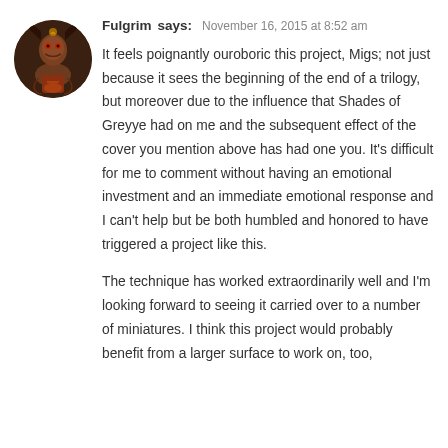[Figure (illustration): Circular avatar image showing a fantasy creature/miniature figure, dark tones with reds and browns]
Fulgrim says:   November 16, 2015 at 8:52 am
It feels poignantly ouroboric this project, Migs; not just because it sees the beginning of the end of a trilogy, but moreover due to the influence that Shades of Greyye had on me and the subsequent effect of the cover you mention above has had one you. It's difficult for me to comment without having an emotional investment and an immediate emotional response and I can't help but be both humbled and honored to have triggered a project like this.
The technique has worked extraordinarily well and I'm looking forward to seeing it carried over to a number of miniatures. I think this project would probably benefit from a larger surface to work on, too,